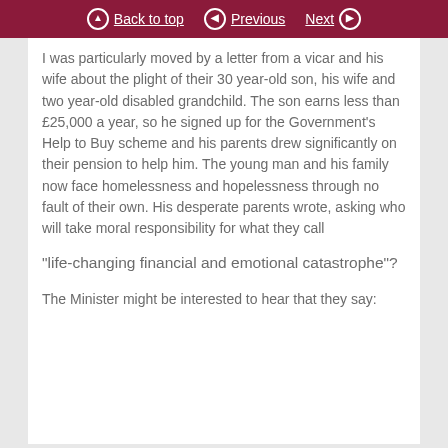Back to top  Previous  Next
I was particularly moved by a letter from a vicar and his wife about the plight of their 30 year-old son, his wife and two year-old disabled grandchild. The son earns less than £25,000 a year, so he signed up for the Government's Help to Buy scheme and his parents drew significantly on their pension to help him. The young man and his family now face homelessness and hopelessness through no fault of their own. His desperate parents wrote, asking who will take moral responsibility for what they call
“life-changing financial and emotional catastrophe”?
The Minister might be interested to hear that they say: